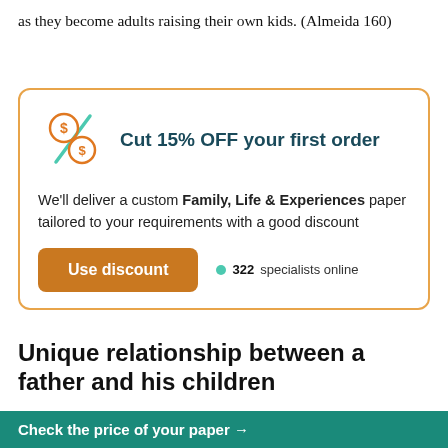as they become adults raising their own kids. (Almeida 160)
[Figure (infographic): Promotional banner with discount offer: Cut 15% OFF your first order. Includes a discount icon, body text about custom Family, Life & Experiences paper, a Use discount button, and 322 specialists online indicator.]
Unique relationship between a father and his children
Check the price of your paper →